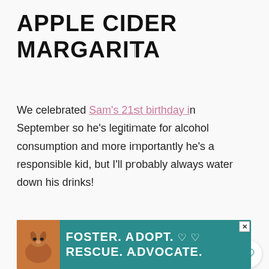APPLE CIDER MARGARITA
We celebrated Sam's 21st birthday in September so he's legitimate for alcohol consumption and more importantly he's a responsible kid, but I'll probably always water down his drinks!
380
[Figure (other): Advertisement banner for animal rescue: dog photo on left, teal background with text FOSTER. ADOPT. hearts RESCUE. ADVOCATE.]